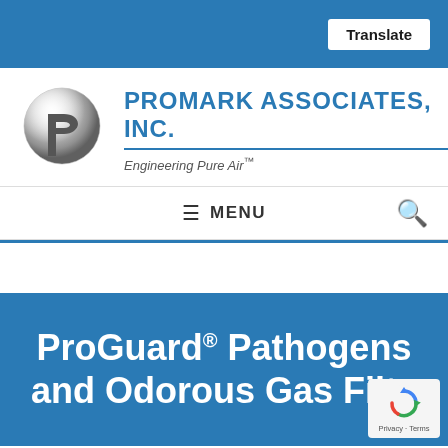Translate
[Figure (logo): ProMark Associates, Inc. logo with silver sphere and company name in blue, tagline: Engineering Pure Air™]
≡ MENU
ProGuard® Pathogens and Odorous Gas Filter